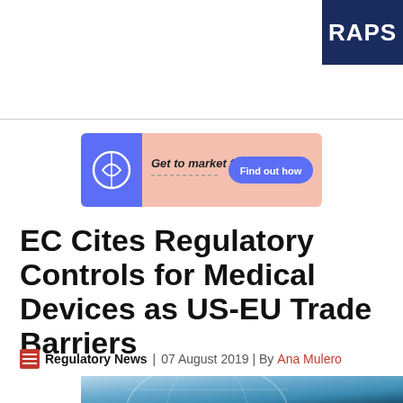RAPS
[Figure (illustration): Advertisement banner: blue left panel with circular logo icon, pink/salmon background with text 'Get to market fast' in italic bold and a blue rounded button 'Find out how']
EC Cites Regulatory Controls for Medical Devices as US-EU Trade Barriers
Regulatory News | 07 August 2019 | By Ana Mulero
[Figure (photo): Partial photo showing a globe with blue tones, partially visible at bottom of page]